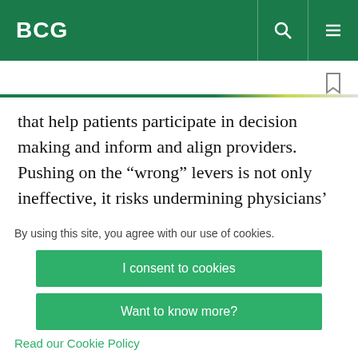BCG
that help patients participate in decision making and inform and align providers. Pushing on the “wrong” levers is not only ineffective, it risks undermining physicians’ trust.
By using this site, you agree with our use of cookies.
I consent to cookies
Want to know more?
Read our Cookie Policy